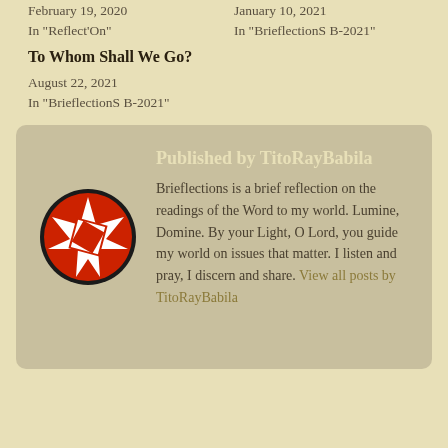February 19, 2020
In "Reflect'On"
January 10, 2021
In "BrieflectionS B-2021"
To Whom Shall We Go?
August 22, 2021
In "BrieflectionS B-2021"
Published by TitoRayBabila
Brieflections is a brief reflection on the readings of the Word to my world. Lumine, Domine. By your Light, O Lord, you guide my world on issues that matter. I listen and pray, I discern and share. View all posts by TitoRayBabila